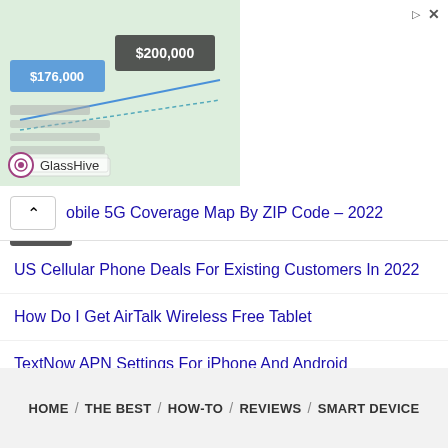[Figure (screenshot): GlassHive CRM Solutions advertisement banner with chart image showing $176,000 and $200,000 figures, Open button, and GlassHive brand name]
obile 5G Coverage Map By ZIP Code – 2022
US Cellular Phone Deals For Existing Customers In 2022
How Do I Get AirTalk Wireless Free Tablet
TextNow APN Settings For iPhone And Android
What Towers Does Straight Talk Use – Coverage Map?
Cricket Wireless Phone For Seniors With Plans In 2022
HOME / THE BEST / HOW-TO / REVIEWS / SMART DEVICE